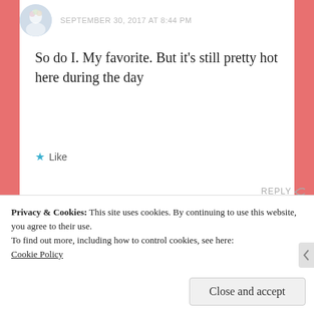SEPTEMBER 30, 2017 AT 8:44 PM
So do I. My favorite. But it’s still pretty hot here during the day
★ Like
REPLY ↩
Small town Rambler says:
SEPTEMBER 30, 2017 AT 11:48
Privacy & Cookies: This site uses cookies. By continuing to use this website, you agree to their use.
To find out more, including how to control cookies, see here:
Cookie Policy
Close and accept